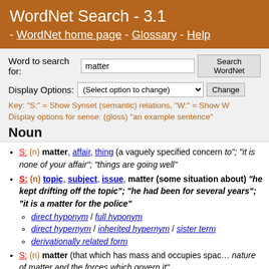WordNet Search - 3.1 - WordNet home page - Glossary - Help
Word to search for: matter   Search WordNet
Display Options: (Select option to change)   Change
Key: "S:" = Show Synset (semantic) relations, "W:" = Show W... Display options for sense: (gloss) "an example sentence"
Noun
S: (n) matter, affair, thing (a vaguely specified concern... to"; "it is none of your affair"; "things are going well"
S: (n) topic, subject, issue, matter (some situation about) "he kept drifting off the topic"; "he had been... for several years"; "it is a matter for the police"
direct hyponym / full hyponym
direct hypernym / inherited hypernym / sister term
derivationally related form
S: (n) matter (that which has mass and occupies space... nature of matter and the forces which govern it"